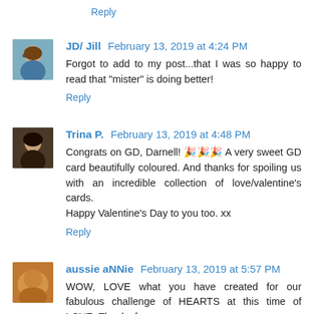Reply
JD/ Jill  February 13, 2019 at 4:24 PM
Forgot to add to my post...that I was so happy to read that "mister" is doing better!
Reply
Trina P.  February 13, 2019 at 4:48 PM
Congrats on GD, Darnell! 🎉🎉🎉 A very sweet GD card beautifully coloured. And thanks for spoiling us with an incredible collection of love/valentine's cards.
Happy Valentine's Day to you too. xx
Reply
aussie aNNie  February 13, 2019 at 5:57 PM
WOW, LOVE what you have created for our fabulous challenge of HEARTS at this time of LOVE. Thanks for your